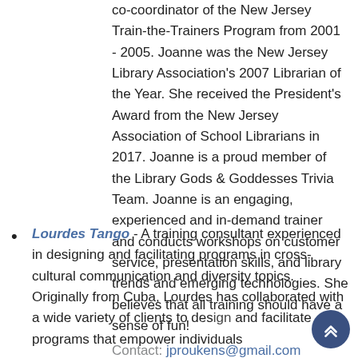co-coordinator of the New Jersey Train-the-Trainers Program from 2001 - 2005. Joanne was the New Jersey Library Association's 2007 Librarian of the Year. She received the President's Award from the New Jersey Association of School Librarians in 2017. Joanne is a proud member of the Library Gods & Goddesses Trivia Team. Joanne is an engaging, experienced and in-demand trainer and conducts workshops on customer service, presentation skills, and library trends and emerging technologies. She believes that all training should have a sense of fun!
Contact: jproukens@gmail.com
Lourdes Tango - A training consultant experienced in designing and facilitating programs in cross-cultural communication and diversity topics. Originally from Cuba, Lourdes has collaborated with a wide variety of clients to design and facilitate programs that empower individuals